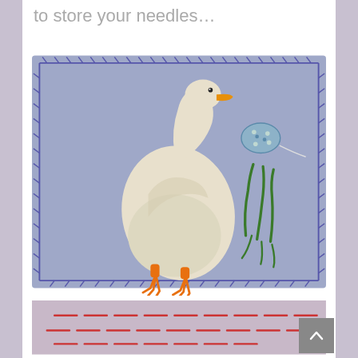to store your needles…
[Figure (photo): A light blue felt needle book/case with a white goose embroidered on the front, orange beak and feet, green grass stitching, blue blanket-stitch edging, and a decorative floral button closure. Photographed on a white wooden surface.]
[Figure (photo): Partial view of a light pink/lavender fabric with red running stitch embroidery, visible at the bottom of the page.]